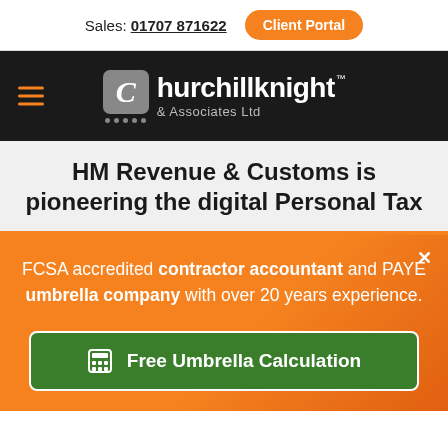Sales: 01707 871622   Client Portal
[Figure (logo): Churchillknight & Associates Ltd logo with hamburger menu icon]
HM Revenue & Customs is pioneering the digital Personal Tax
FCSA accredited contractor accountant and PAYE umbrella company with over 20 years experience.
Free Umbrella Calculation